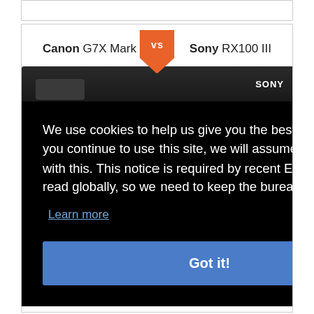[Figure (screenshot): Webpage comparing Canon G7X Mark II vs Sony RX100 III cameras with a cookie consent overlay. The overlay has text about cookie usage policy and a 'Got it!' button. Background shows both cameras side by side with a VS badge.]
We use cookies to help us give you the best experience on IR. If you continue to use this site, we will assume that you're happy with this. This notice is required by recent EU rules, and IR is read globally, so we need to keep the bureaucrats off our case!
Learn more
Got it!